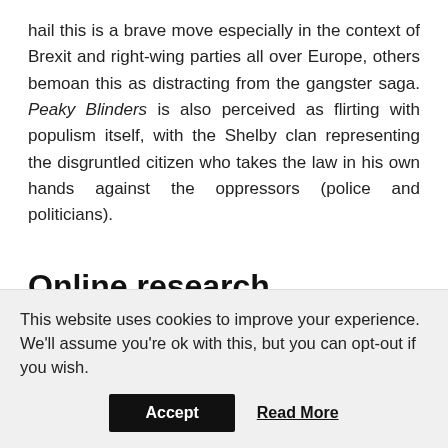hail this is a brave move especially in the context of Brexit and right-wing parties all over Europe, others bemoan this as distracting from the gangster saga. Peaky Blinders is also perceived as flirting with populism itself, with the Shelby clan representing the disgruntled citizen who takes the law in his own hands against the oppressors (police and politicians).
Online research resources
Watch
This website uses cookies to improve your experience. We'll assume you're ok with this, but you can opt-out if you wish.